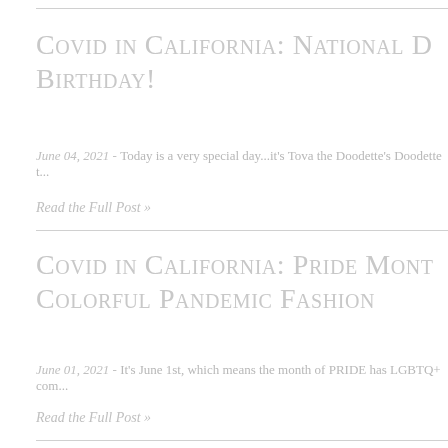Covid in California: National D Birthday!
June 04, 2021 - Today is a very special day...it's Tova the Doodette's Doodette t...
Read the Full Post »
Covid in California: PRIDE Mont Colorful Pandemic Fashion
June 01, 2021 - It's June 1st, which means the month of PRIDE has LGBTQ+ com...
Read the Full Post »